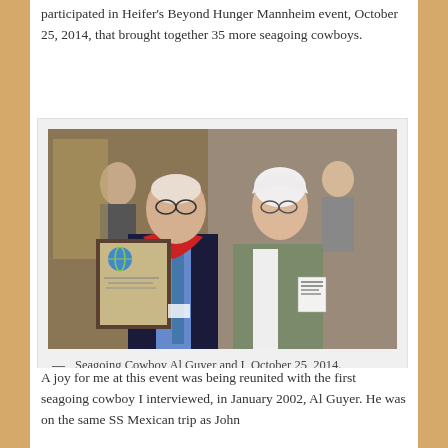participated in Heifer's Beyond Hunger Mannheim event, October 25, 2014, that brought together 35 more seagoing cowboys.
[Figure (photo): Two people posing together indoors at an event. A man on the left wearing glasses, a dark blazer, blue shirt, and red bandana around his neck, holding a framed certificate with a globe logo. A woman on the right with white hair and glasses, wearing a green jacket with a name tag.]
— Seagoing Cowboy Al Guyer and I, October 25, 2014.
A joy for me at this event was being reunited with the first seagoing cowboy I interviewed, in January 2002, Al Guyer. He was on the same SS Mexican trip as John